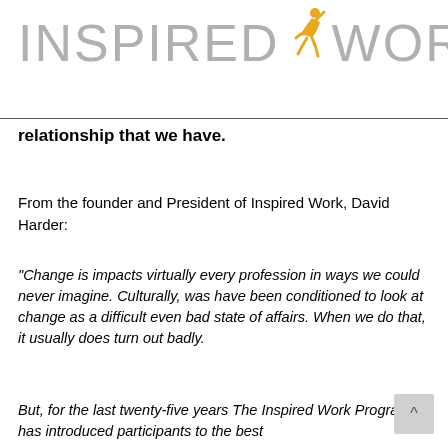[Figure (logo): Inspired Work logo with stylized running figure between 'INSPIRED' and 'WORK' text in light gray, figure in gold/yellow]
relationship that we have.
From the founder and President of Inspired Work, David Harder:
“Change is impacts virtually every profession in ways we could never imagine. Culturally, was have been conditioned to look at change as a difficult even bad state of affairs. When we do that, it usually does turn out badly.
But, for the last twenty-five years The Inspired Work Program has introduced participants to the best